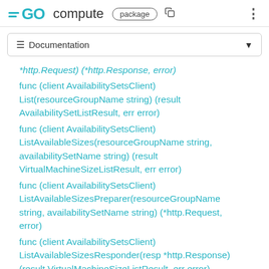GO compute package
≡ Documentation
*http.Request) (*http.Response, error)
func (client AvailabilitySetsClient) List(resourceGroupName string) (result AvailabilitySetListResult, err error)
func (client AvailabilitySetsClient) ListAvailableSizes(resourceGroupName string, availabilitySetName string) (result VirtualMachineSizeListResult, err error)
func (client AvailabilitySetsClient) ListAvailableSizesPreparer(resourceGroupName string, availabilitySetName string) (*http.Request, error)
func (client AvailabilitySetsClient) ListAvailableSizesResponder(resp *http.Response) (result VirtualMachineSizeListResult, err error)